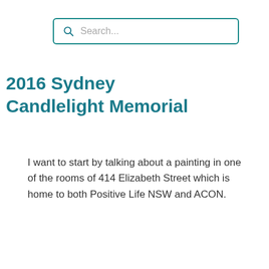[Figure (other): Search bar with magnifying glass icon and placeholder text 'Search...']
2016 Sydney Candlelight Memorial
I want to start by talking about a painting in one of the rooms of 414 Elizabeth Street which is home to both Positive Life NSW and ACON.